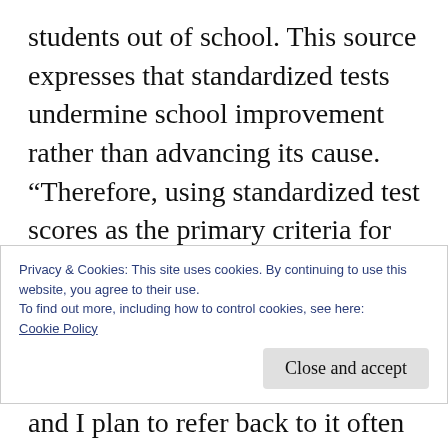students out of school. This source expresses that standardized tests undermine school improvement rather than advancing its cause. “Therefore, using standardized test scores as the primary criteria for making important educational decisions will lead to less public understanding of the schools and a weaker educational system” (2). The main point of this source is to provide many facts regarding why standardized tests weaken an educational system rather than strengthen it. This source is
Privacy & Cookies: This site uses cookies. By continuing to use this website, you agree to their use.
To find out more, including how to control cookies, see here: Cookie Policy
and I plan to refer back to it often throughout